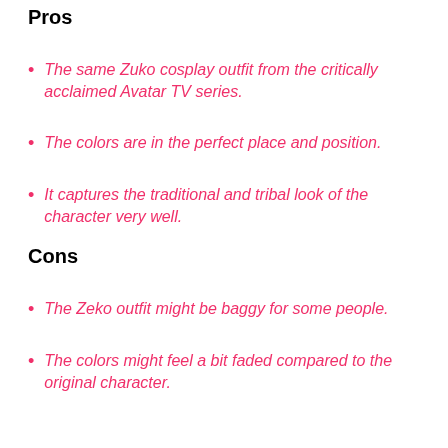Pros
The same Zuko cosplay outfit from the critically acclaimed Avatar TV series.
The colors are in the perfect place and position.
It captures the traditional and tribal look of the character very well.
Cons
The Zeko outfit might be baggy for some people.
The colors might feel a bit faded compared to the original character.